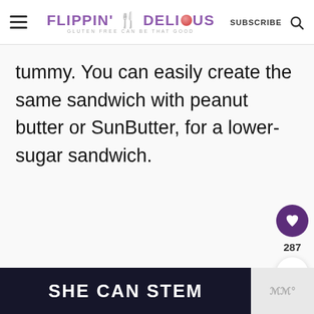FLIPPIN' DELICIOUS — GLUTEN FREE CAN BE THAT GOOD | SUBSCRIBE
tummy. You can easily create the same sandwich with peanut butter or SunButter, for a lower-sugar sandwich.
[Figure (infographic): SHE CAN STEM advertisement banner at bottom of page]
[Figure (infographic): Like (heart) button showing 287 likes, and share button widget on the right side]